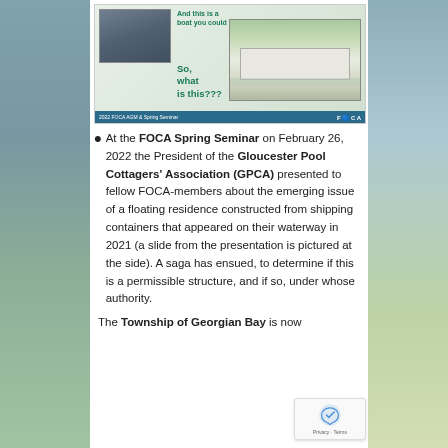[Figure (screenshot): A screenshot of a FOCA AGM & Spring Seminar slide showing photos of a floating residence made from shipping containers, with text 'And this is a boat you could live on...' and 'So, what is this???' in green, and a FOCA logo at the bottom.]
At the FOCA Spring Seminar on February 26, 2022 the President of the Gloucester Pool Cottagers' Association (GPCA) presented to fellow FOCA-members about the emerging issue of a floating residence constructed from shipping containers that appeared on their waterway in 2021 (a slide from the presentation is pictured at the side). A saga has ensued, to determine if this is a permissible structure, and if so, under whose authority.
The Township of Georgian Bay is now